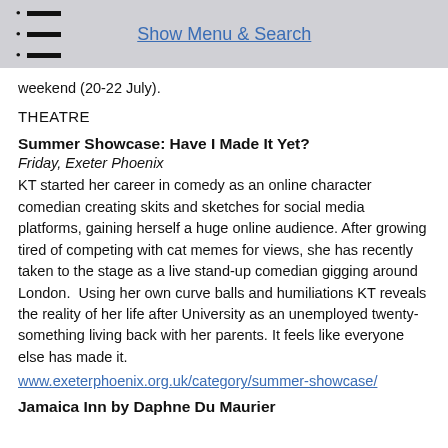Show Menu & Search
weekend (20-22 July).
THEATRE
Summer Showcase: Have I Made It Yet?
Friday, Exeter Phoenix
KT started her career in comedy as an online character comedian creating skits and sketches for social media platforms, gaining herself a huge online audience. After growing tired of competing with cat memes for views, she has recently taken to the stage as a live stand-up comedian gigging around London.  Using her own curve balls and humiliations KT reveals the reality of her life after University as an unemployed twenty-something living back with her parents. It feels like everyone else has made it.
www.exeterphoenix.org.uk/category/summer-showcase/
Jamaica Inn by Daphne Du Maurier